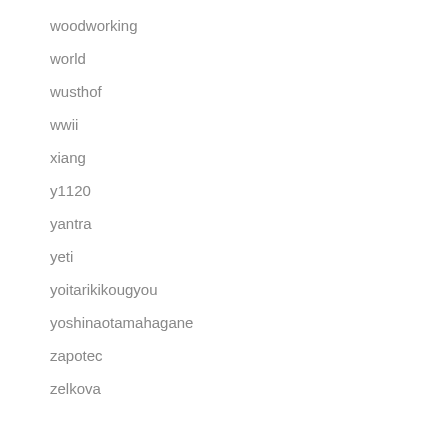woodworking
world
wusthof
wwii
xiang
y1120
yantra
yeti
yoitarikikougyou
yoshinaotamahagane
zapotec
zelkova